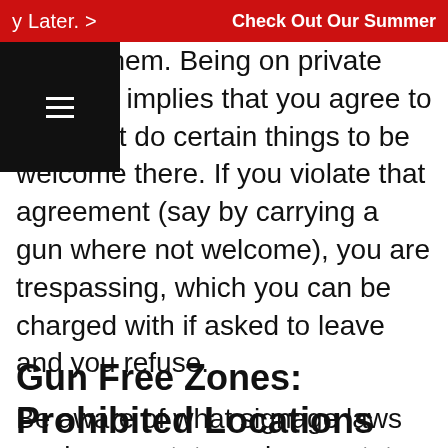y Later. > Check Out Our Summer
ignore them. Being on private property implies that you agree to do or not do certain things to be welcome there. If you violate that agreement (say by carrying a gun where not welcome), you are trespassing, which you can be charged with if asked to leave and you refuse.
Be aware of what signage laws are in your state, or in any states you visit.
Gun Free Zones: Prohibited Locations